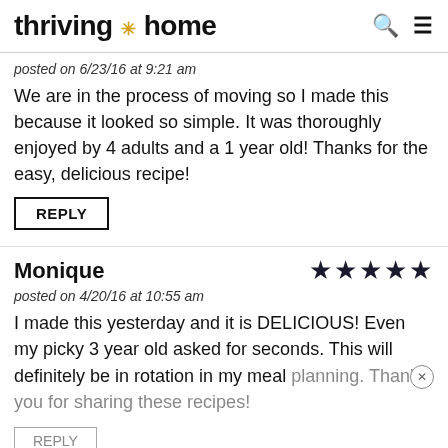thriving * home
posted on 6/23/16 at 9:21 am
We are in the process of moving so I made this because it looked so simple. It was thoroughly enjoyed by 4 adults and a 1 year old! Thanks for the easy, delicious recipe!
REPLY
Monique
★★★★★
posted on 4/20/16 at 10:55 am
I made this yesterday and it is DELICIOUS! Even my picky 3 year old asked for seconds. This will definitely be in rotation in my meal planning. Thank you for sharing these recipes!
REPLY